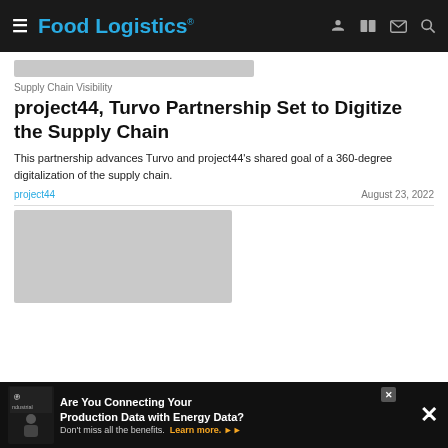Food Logistics
[Figure (screenshot): Blurred/placeholder image at top of article]
Supply Chain Visibility
project44, Turvo Partnership Set to Digitize the Supply Chain
This partnership advances Turvo and project44's shared goal of a 360-degree digitalization of the supply chain.
project44    August 23, 2022
[Figure (photo): Second article image placeholder, blurred]
[Figure (screenshot): Advertisement banner: Are You Connecting Your Production Data with Energy Data? Don't miss all the benefits. Learn more.]